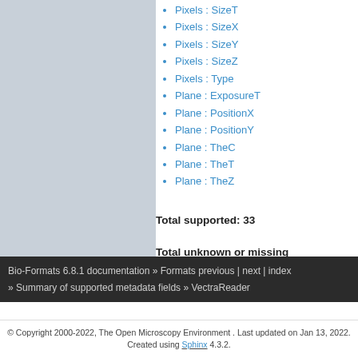Pixels : SizeT
Pixels : SizeX
Pixels : SizeY
Pixels : SizeZ
Pixels : Type
Plane : ExposureT
Plane : PositionX
Plane : PositionY
Plane : TheC
Plane : TheT
Plane : TheZ
Total supported: 33
Total unknown or missing
Bio-Formats 6.8.1 documentation » Formats previous | next | index » Summary of supported metadata fields » VectraReader
© Copyright 2000-2022, The Open Microscopy Environment . Last updated on Jan 13, 2022. Created using Sphinx 4.3.2.